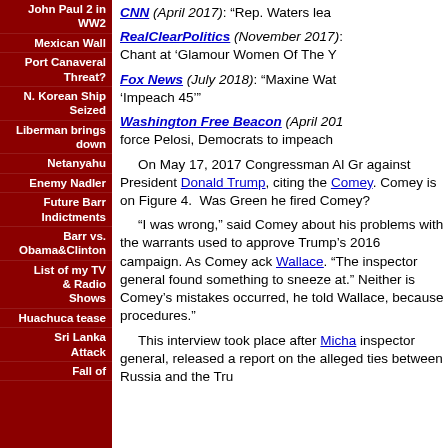John Paul 2 in WW2
Mexican Wall
Port Canaveral Threat?
N. Korean Ship Seized
Liberman brings down
Netanyahu
Enemy Nadler
Future Barr Indictments
Barr vs. Obama&Clinton
List of my TV & Radio Shows
Huachuca tease
Sri Lanka Attack
Fall of
CNN (April 2017): “Rep. Waters lea
RealClearPolitics (November 2017): Chant at ‘Glamour Women Of The Y
Fox News (July 2018): “Maxine Wat ‘Impeach 45’”
Washington Free Beacon (April 201 force Pelosi, Democrats to impeach
On May 17, 2017 Congressman Al Gr against President Donald Trump, citing the Comey. Comey is on Figure 4. Was Green he fired Comey?
“I was wrong,” said Comey about his problems with the warrants used to approve Trump’s 2016 campaign. As Comey ack Wallace. “The inspector general found something to sneeze at.” Neither is Comey’s mistakes occurred, he told Wallace, because procedures.”
This interview took place after Micha inspector general, released a report on the alleged ties between Russia and the Tru